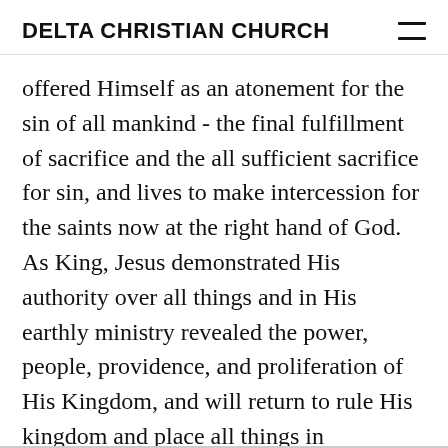DELTA CHRISTIAN CHURCH
offered Himself as an atonement for the sin of all mankind - the final fulfillment of sacrifice and the all sufficient sacrifice for sin, and lives to make intercession for the saints now at the right hand of God. As King, Jesus demonstrated His authority over all things and in His earthly ministry revealed the power, people, providence, and proliferation of His Kingdom, and will return to rule His kingdom and place all things in subjection to the Father and finally overthrow evil.